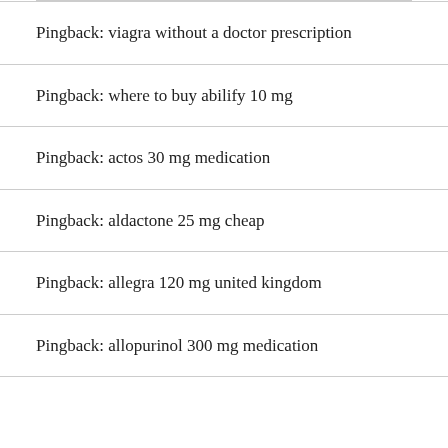Pingback: viagra without a doctor prescription
Pingback: where to buy abilify 10 mg
Pingback: actos 30 mg medication
Pingback: aldactone 25 mg cheap
Pingback: allegra 120 mg united kingdom
Pingback: allopurinol 300 mg medication